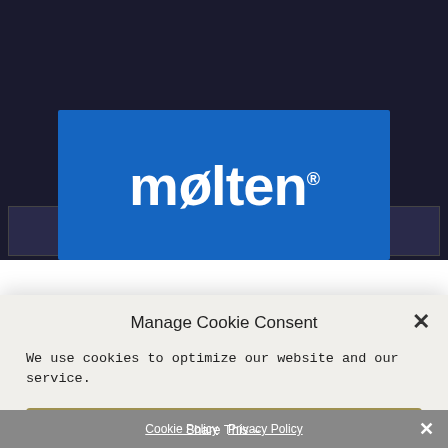[Figure (screenshot): Dark background website screenshot showing two placeholder image boxes at the top]
[Figure (logo): Molten brand logo: white 'molten' wordmark with registered trademark symbol on blue background]
Manage Cookie Consent
We use cookies to optimize our website and our service.
ACCEPT COOKIES
DENY
VIEW PREFERENCES
Cookie Policy  Privacy Policy  Share This